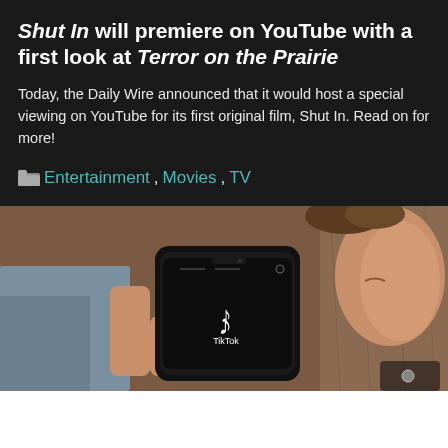Shut In will premiere on YouTube with a first look at Terror on the Prairie
Today, the Daily Wire announced that it would host a special viewing on YouTube for its first original film, Shut In. Read on for more!
Entertainment, Movies, TV
[Figure (photo): Person holding a smartphone displaying the TikTok app logo and interface, wearing a light blue top, with blurred wooden background.]